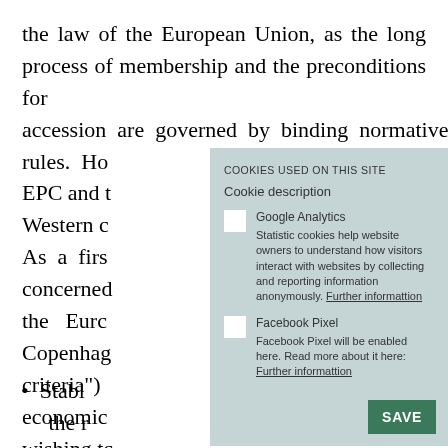the law of the European Union, as the long process of membership and the preconditions for accession are governed by binding normative rules. Ho EPC and t Western c As a firs concerned the Euro Copenhag criteria") economic wishing to
COOKIES USED ON THIS SITE
Cookie description
Google Analytics
Statistic cookies help website owners to understand how visitors interact with websites by collecting and reporting information anonymously. Further informattion
Facebook Pixel
Facebook Pixel will be enabled here. Read more about it here: Further informattion
Stabl the r